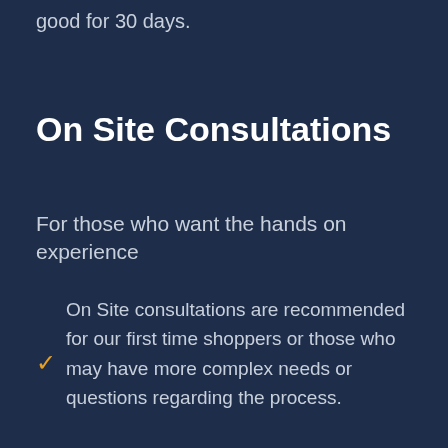good for 30 days.
On Site Consultations
For those who want the hands on experience
On Site consultations are recommended for our first time shoppers or those who may have more complex needs or questions regarding the process.